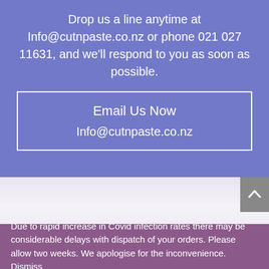Drop us a line anytime at Info@cutnpaste.co.nz or phone 021 027 11631, and we'll respond to you as soon as possible.
[Figure (other): Email Us Now button box with text 'Email Us Now' and 'Info@cutnpaste.co.nz']
Due to rapid increase in Covid infection rates there may be considerable delays with dispatch of your orders. Please allow two weeks. We apologise for the inconvenience. Dismiss